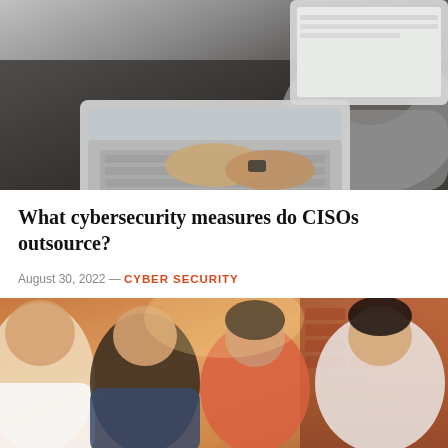[Figure (photo): Overhead view of two people working on laptops on a dark table, one person's hands on keyboard of a silver MacBook]
What cybersecurity measures do CISOs outsource?
August 30, 2022 — CYBER SECURITY
[Figure (photo): Group of four people (women and a man) smiling and talking in a warm indoor setting with brick wall background]